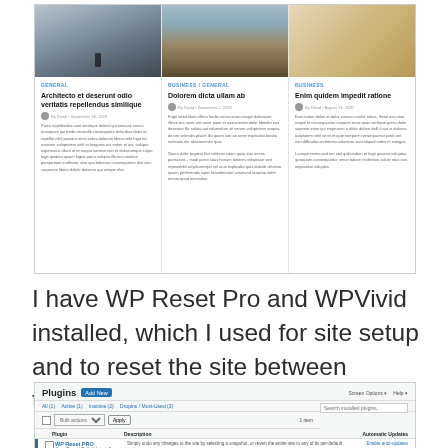[Figure (screenshot): Screenshot of a WordPress blog with three article cards in a grid. Each card has a photo, category tag, title, author/date meta, and body text. Columns: 1) 'GENERAL' - 'Architecto et deserunt odio veritatis repellendus similique'; 2) 'BUSINESS / GENERAL' - 'Dolorem dicta ullam ab'; 3) 'BUSINESS' - 'Enim quidem impedit ratione'.]
I have WP Reset Pro and WPVivid installed, which I used for site setup and to reset the site between testing sessions.
[Figure (screenshot): Screenshot of WordPress admin Plugins page showing a table with plugin list. WP Reset PRO plugin is highlighted with a blue left border. Columns: Plugin, Description, Automatic Updates. Filter tabs: All, Active, Inactive, Dropins/Must-Used.]